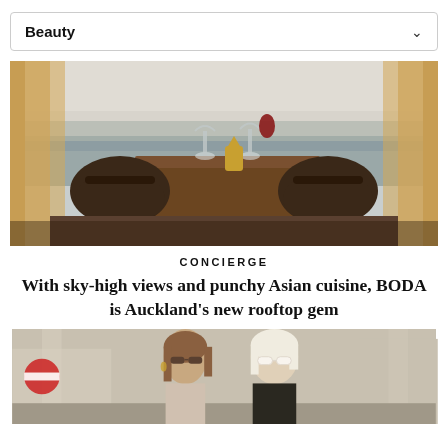Beauty
[Figure (photo): Interior of a restaurant with dark leather chairs around a wooden table, wine glasses, a view of a harbour through large windows, with warm curtains on either side.]
CONCIERGE
With sky-high views and punchy Asian cuisine, BODA is Auckland's new rooftop gem
[Figure (photo): Two women walking on a city street, both wearing sunglasses. One has brunette hair and the other has blonde/white hair wearing white frames.]